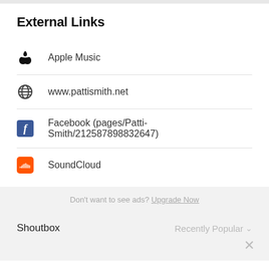External Links
Apple Music
www.pattismith.net
Facebook (pages/Patti-Smith/212587898832647)
SoundCloud
Don't want to see ads? Upgrade Now
Shoutbox
Recently Popular ✓